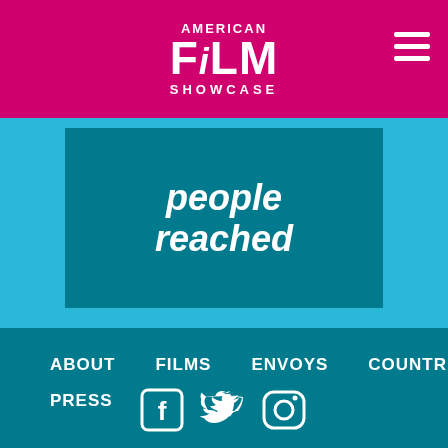American Film Showcase
people reached
ABOUT
FILMS
ENVOYS
COUNTRIES
PRESS
[Figure (illustration): Social media icons: Facebook, Twitter, Instagram in white on teal background]